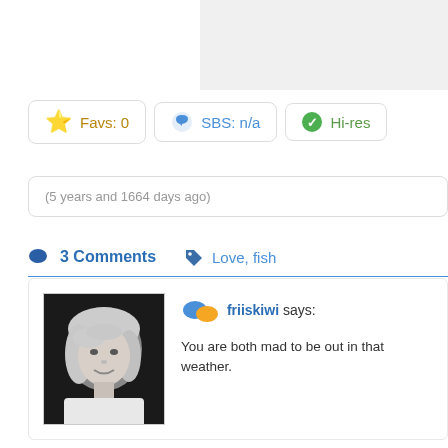[Figure (other): Gray background area top right, partial screenshot artifact]
Favs: 0
SBS: n/a
Hi-res
(5 years and 1664 days ago)
3 Comments
Love, fish
[Figure (photo): Black and white portrait photo of a woman with blonde hair, smiling]
friiskiwi says: You are both mad to be out in that weather.